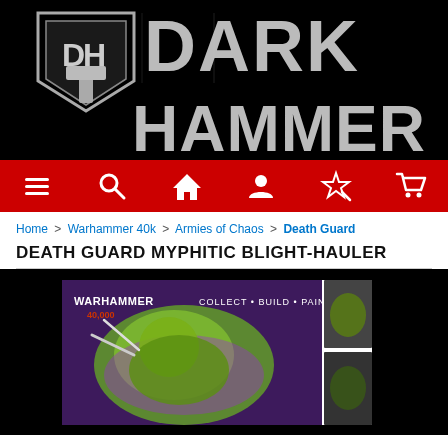[Figure (logo): Dark Hammer logo with metallic text and shield/hammer icon on black background]
[Figure (screenshot): Red navigation bar with white icons: hamburger menu, search, home, user, star/wand, shopping cart]
Home > Warhammer 40k > Armies of Chaos > Death Guard
DEATH GUARD MYPHITIC BLIGHT-HAULER
[Figure (photo): Warhammer 40,000 Death Guard Myphitic Blight-Hauler product box showing a green alien creature with glowing energy, text 'COLLECT BUILD PAINT PLAY', on black background]